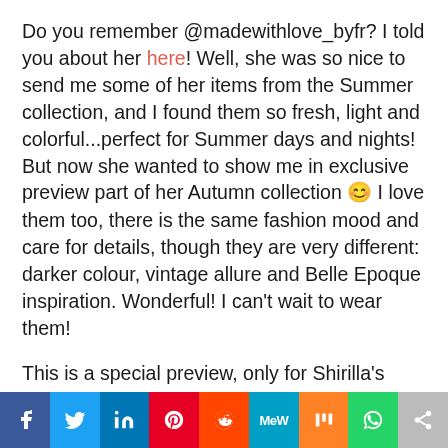Do you remember @madewithlove_byfr? I told you about her here! Well, she was so nice to send me some of her items from the Summer collection, and I found them so fresh, light and colorful...perfect for Summer days and nights! But now she wanted to show me in exclusive preview part of her Autumn collection 😊 I love them too, there is the same fashion mood and care for details, though they are very different: darker colour, vintage allure and Belle Epoque inspiration. Wonderful! I can't wait to wear them!
This is a special preview, only for Shirilla's
[Figure (infographic): Social media sharing bar with icons: Facebook (blue), Twitter (light blue), LinkedIn (dark blue), Pinterest (red), Reddit (orange-red), MeWe (teal), Mix (orange), WhatsApp (green), Share (gray)]